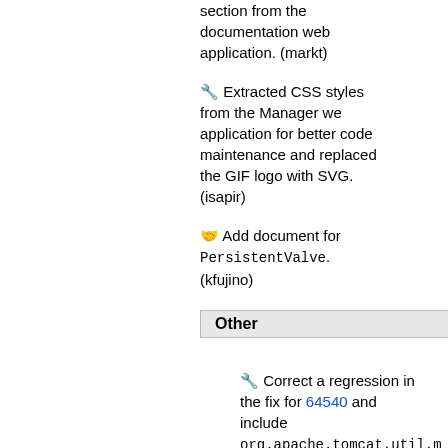section from the documentation web application. (markt)
🔧 Extracted CSS styles from the Manager we application for better code maintenance and replaced the GIF logo with SVG. (isapir)
🤝 Add document for PersistentValve. (kfujino)
Other
🔧 Correct a regression in the fix for 64540 and include org.apache.tomcat.util.m and org.apache.tomcat.util.n in the list of exported